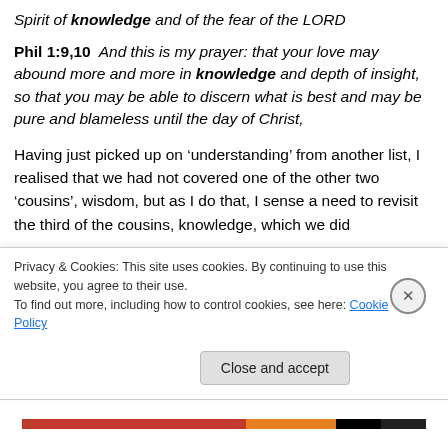Spirit of knowledge and of the fear of the LORD
Phil 1:9,10  And this is my prayer: that your love may abound more and more in knowledge and depth of insight, so that you may be able to discern what is best and may be pure and blameless until the day of Christ,
Having just picked up on ‘understanding’ from another list, I realised that we had not covered one of the other two ‘cousins’, wisdom, but as I do that, I sense a need to revisit the third of the cousins, knowledge, which we did
Privacy & Cookies: This site uses cookies. By continuing to use this website, you agree to their use.
To find out more, including how to control cookies, see here: Cookie Policy
Close and accept